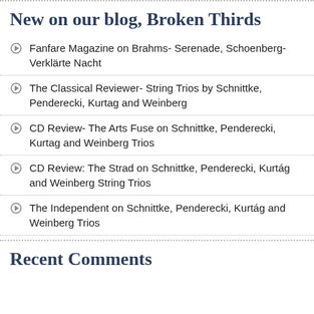New on our blog, Broken Thirds
Fanfare Magazine on Brahms- Serenade, Schoenberg- Verklärte Nacht
The Classical Reviewer- String Trios by Schnittke, Penderecki, Kurtag and Weinberg
CD Review- The Arts Fuse on Schnittke, Penderecki, Kurtag and Weinberg Trios
CD Review: The Strad on Schnittke, Penderecki, Kurtág and Weinberg String Trios
The Independent on Schnittke, Penderecki, Kurtág and Weinberg Trios
Recent Comments